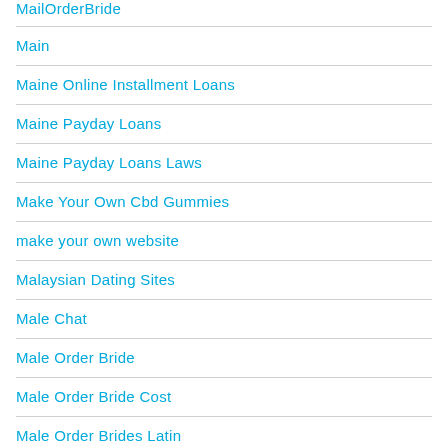MailOrderBride
Main
Maine Online Installment Loans
Maine Payday Loans
Maine Payday Loans Laws
Make Your Own Cbd Gummies
make your own website
Malaysian Dating Sites
Male Chat
Male Order Bride
Male Order Bride Cost
Male Order Brides Latin
Male Order Brides Ukraine